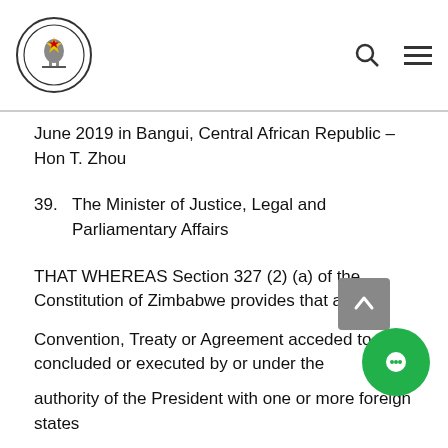Parliament of Zimbabwe
June 2019 in Bangui, Central African Republic – Hon T. Zhou
39. The Minister of Justice, Legal and Parliamentary Affairs
THAT WHEREAS Section 327 (2) (a) of the Constitution of Zimbabwe provides that any
Convention, Treaty or Agreement acceded to, concluded or executed by or under the
authority of the President with one or more foreign states